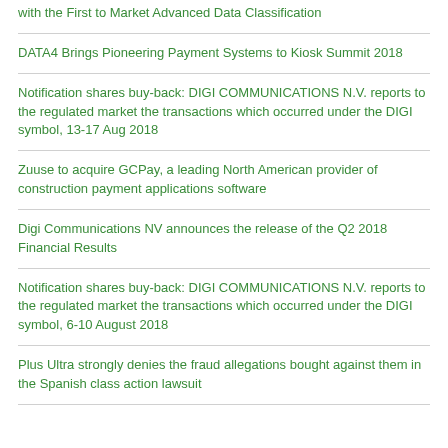with the First to Market Advanced Data Classification
DATA4 Brings Pioneering Payment Systems to Kiosk Summit 2018
Notification shares buy-back: DIGI COMMUNICATIONS N.V. reports to the regulated market the transactions which occurred under the DIGI symbol, 13-17 Aug 2018
Zuuse to acquire GCPay, a leading North American provider of construction payment applications software
Digi Communications NV announces the release of the Q2 2018 Financial Results
Notification shares buy-back: DIGI COMMUNICATIONS N.V. reports to the regulated market the transactions which occurred under the DIGI symbol, 6-10 August 2018
Plus Ultra strongly denies the fraud allegations bought against them in the Spanish class action lawsuit